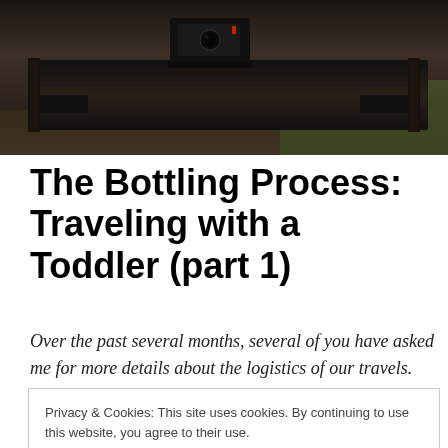[Figure (photo): Outdoor photo showing dark equipment or cookstove on a wooden surface, likely a camping or outdoor cooking setup]
The Bottling Process: Traveling with a Toddler (part 1)
Over the past several months, several of you have asked me for more details about the logistics of our travels.  This is the second post in an ongoing series about how we
Privacy & Cookies: This site uses cookies. By continuing to use this website, you agree to their use.
To find out more, including how to control cookies, see here: Cookie Policy
like us, most of them don't have children.  Don't get me